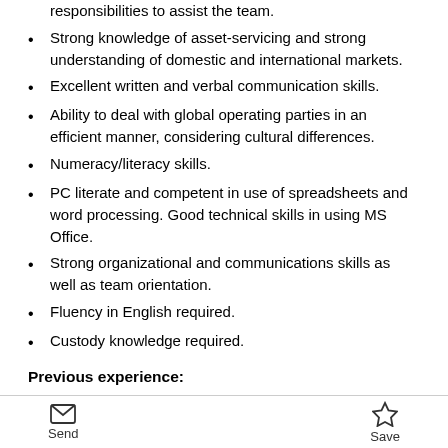Flexibility in working outside of own responsibilities to assist the team.
Strong knowledge of asset-servicing and strong understanding of domestic and international markets.
Excellent written and verbal communication skills.
Ability to deal with global operating parties in an efficient manner, considering cultural differences.
Numeracy/literacy skills.
PC literate and competent in use of spreadsheets and word processing. Good technical skills in using MS Office.
Strong organizational and communications skills as well as team orientation.
Fluency in English required.
Custody knowledge required.
Previous experience:
Send   Save